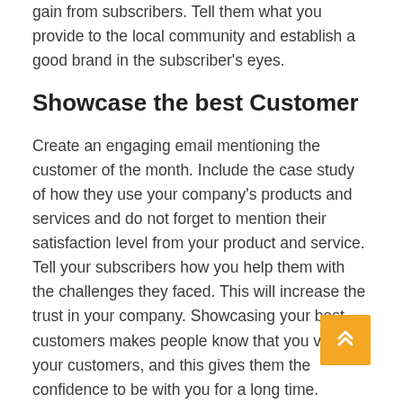gain from subscribers. Tell them what you provide to the local community and establish a good brand in the subscriber's eyes.
Showcase the best Customer
Create an engaging email mentioning the customer of the month. Include the case study of how they use your company's products and services and do not forget to mention their satisfaction level from your product and service. Tell your subscribers how you help them with the challenges they faced. This will increase the trust in your company. Showcasing your best customers makes people know that you value your customers, and this gives them the confidence to be with you for a long time.
Present your best employee
You can mention your best employee of the month to change and boost your team. This will help...